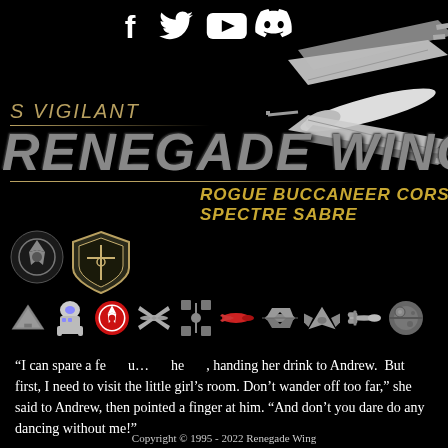[Figure (illustration): Social media icons: Facebook (f), Twitter bird, YouTube play button, Discord logo]
[Figure (illustration): X-wing starfighter spacecraft image in upper right corner, grayscale/white]
S VIGILANT
RENEGADE WING
ROGUE BUCCANEER CORSAIR
SPECTRE SABRE
[Figure (illustration): Rebel Alliance logo and Renegade Wing squadron badge/shield logo on left side]
[Figure (illustration): Icon strip with Star Wars themed icons: spacecraft, R2-D2, Rebel symbol, X-wing, fighter, red ship, shuttle, fighter, Y-wing, Death Star]
“I can spare a fe… u… he…, handing her drink to Andrew. But first, I need to visit the little girl’s room. Don’t wander off too far,” she said to Andrew, then pointed a finger at him. “And don’t you dare do any dancing without me!”
As the two walked off, complimenting each other’s dressware, Andrew was left to take in the
Copyright © 1995 - 2022 Renegade Wing